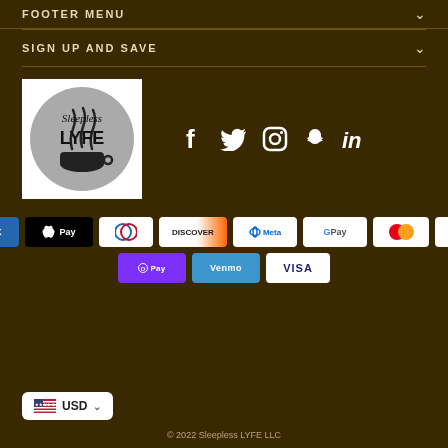FOOTER MENU
SIGN UP AND SAVE
[Figure (logo): Sleepless LYFE logo - circular gray logo with coffee cup and steam, text 'Sleepless LYFE']
[Figure (infographic): Social media icons: Facebook, Twitter, Instagram, Snapchat, LinkedIn]
[Figure (infographic): Payment method badges: American Express, Apple Pay, Diners Club, Discover, Meta Pay, Google Pay, Mastercard, PayPal, Shop Pay, Venmo, Visa]
USD
© 2022 Sleepless LYFE LLC